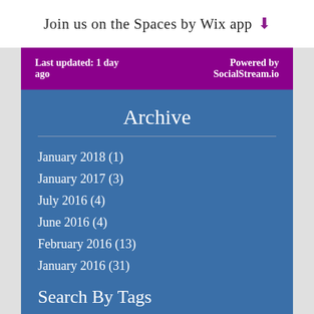Join us on the Spaces by Wix app ⬇
Last updated: 1 day ago    Powered by SocialStream.io
Archive
January 2018 (1)
January 2017 (3)
July 2016 (4)
June 2016 (4)
February 2016 (13)
January 2016 (31)
Search By Tags
No tags yet.
Follow Me